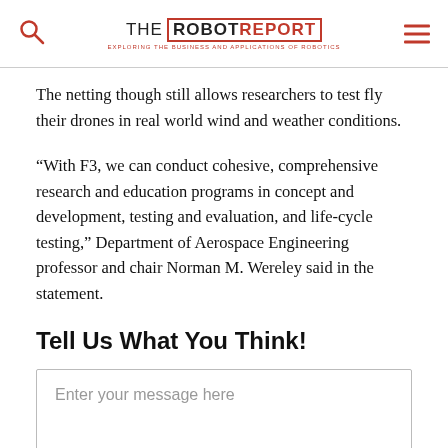THE ROBOT REPORT — EXPLORING THE BUSINESS AND APPLICATIONS OF ROBOTICS
The netting though still allows researchers to test fly their drones in real world wind and weather conditions.
“With F3, we can conduct cohesive, comprehensive research and education programs in concept and development, testing and evaluation, and life-cycle testing,” Department of Aerospace Engineering professor and chair Norman M. Wereley said in the statement.
Tell Us What You Think!
Enter your message here